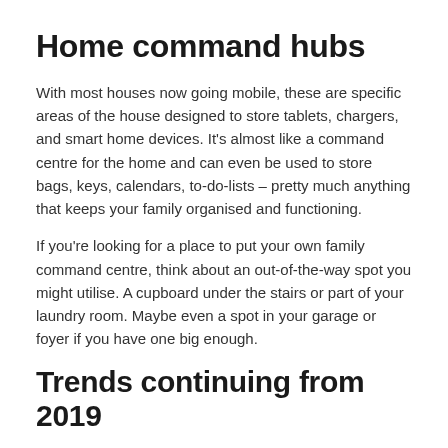Home command hubs
With most houses now going mobile, these are specific areas of the house designed to store tablets, chargers, and smart home devices. It's almost like a command centre for the home and can even be used to store bags, keys, calendars, to-do-lists – pretty much anything that keeps your family organised and functioning.
If you're looking for a place to put your own family command centre, think about an out-of-the-way spot you might utilise. A cupboard under the stairs or part of your laundry room. Maybe even a spot in your garage or foyer if you have one big enough.
Trends continuing from 2019
So, we've looked at the new trends coming up and now it's time to look at those trends that will continue from this year:
Eco-conscious – these are homes that are designed with